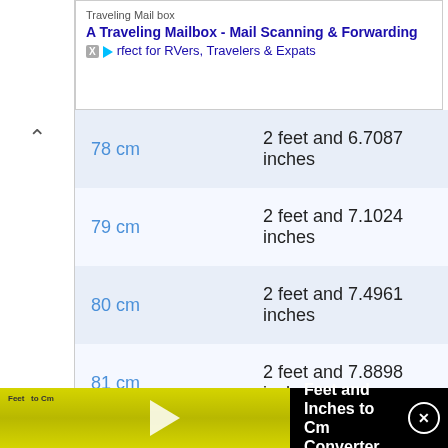[Figure (screenshot): Ad banner for Traveling Mailbox - Mail Scanning & Forwarding service, perfect for RVers, Travelers & Expats]
| 78 cm | 2 feet and 6.7087 inches |
| 79 cm | 2 feet and 7.1024 inches |
| 80 cm | 2 feet and 7.4961 inches |
| 81 cm | 2 feet and 7.8898 inches |
| 82 cm | 2 feet and 8.2835 inches |
| 83 cm | 2 feet and 8.6772 inches |
| 84 cm | 2 feet and 9.0709 inches |
[Figure (screenshot): Feet and Inches to Cm Converter video bar at bottom]